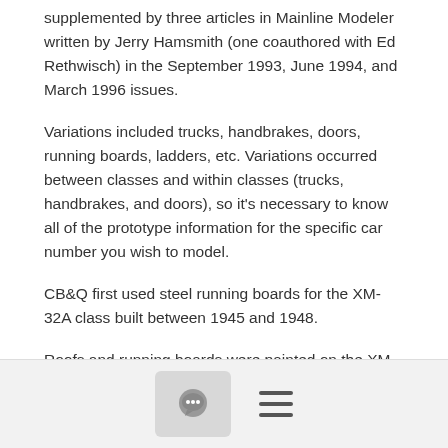supplemented by three articles in Mainline Modeler written by Jerry Hamsmith (one coauthored with Ed Rethwisch) in the September 1993, June 1994, and March 1996 issues.
Variations included trucks, handbrakes, doors, running boards, ladders, etc. Variations occurred between classes and within classes (trucks, handbrakes, and doors), so it's necessary to know all of the prototype information for the specific car number you wish to model.
CB&Q first used steel running boards for the XM-32A class built between 1945 and 1948.
Roofs and running boards were painted on the XM-32 series cars, but the paint didn't last long on the running boards. Steel running boards weren't painted, but the roofs sere painted. Paint failure on the roof depended on age of the car you're modeling. Caveat - I model 1953, so my knowledge base ends there.
[chat icon] [menu icon]